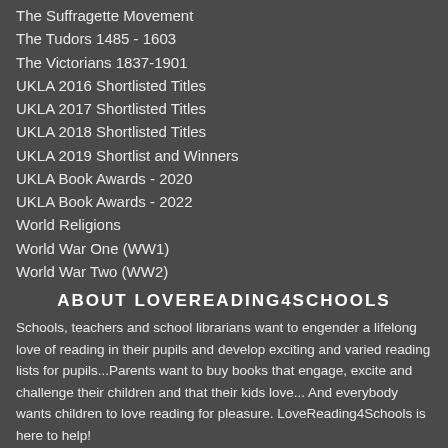The Suffragette Movement
The Tudors 1485 - 1603
The Victorians 1837-1901
UKLA 2016 Shortlisted Titles
UKLA 2017 Shortlisted Titles
UKLA 2018 Shortlisted Titles
UKLA 2019 Shortlist and Winners
UKLA Book Awards - 2020
UKLA Book Awards - 2022
World Religions
World War One (WW1)
World War Two (WW2)
ABOUT LOVEREADING4SCHOOLS
Schools, teachers and school librarians want to engender a lifelong love of reading in their pupils and develop exciting and varied reading lists for pupils...Parents want to buy books that engage, excite and challenge their children and that their kids love... And everybody wants children to love reading for pleasure. LoveReading4Schools is here to help!